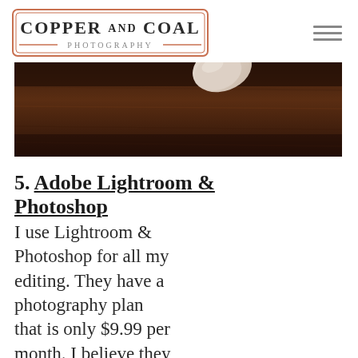COPPER AND COAL PHOTOGRAPHY
[Figure (photo): Close-up photograph of a hand/finger on a dark wooden surface, dark moody tones]
5. Adobe Lightroom & Photoshop
I use Lightroom & Photoshop for all my editing. They have a photography plan that is only $9.99 per month. I believe they will have a special for cyber monday.